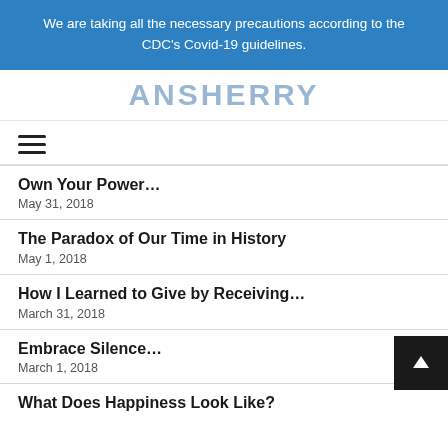We are taking all the necessary precautions according to the CDC's Covid-19 guidelines.
[Figure (other): Partially visible website logo/title text in blue]
[Figure (other): Hamburger menu icon (three horizontal lines)]
Own Your Power…
May 31, 2018
The Paradox of Our Time in History
May 1, 2018
How I Learned to Give by Receiving…
March 31, 2018
Embrace Silence…
March 1, 2018
What Does Happiness Look Like?